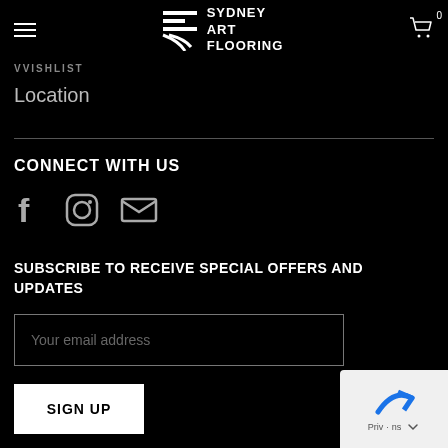Sydney Art Flooring
WWISHLIST
Location
CONNECT WITH US
[Figure (infographic): Social media icons: Facebook (f), Instagram (camera), Email (envelope)]
SUBSCRIBE TO RECEIVE SPECIAL OFFERS AND UPDATES
Your email address
SIGN UP